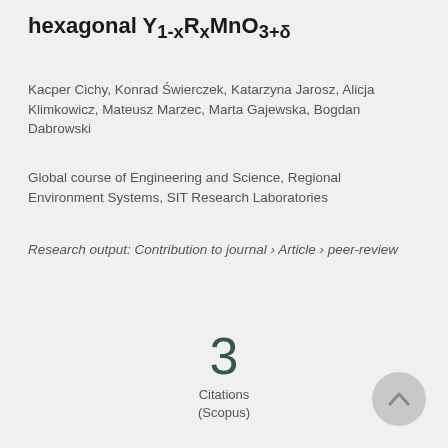hexagonal Y1-xRxMnO3+δ
Kacper Cichy, Konrad Świerczek, Katarzyna Jarosz, Alicja Klimkowicz, Mateusz Marzec, Marta Gajewska, Bogdan Dabrowski
Global course of Engineering and Science, Regional Environment Systems, SIT Research Laboratories
Research output: Contribution to journal › Article › peer-review
3
Citations
(Scopus)